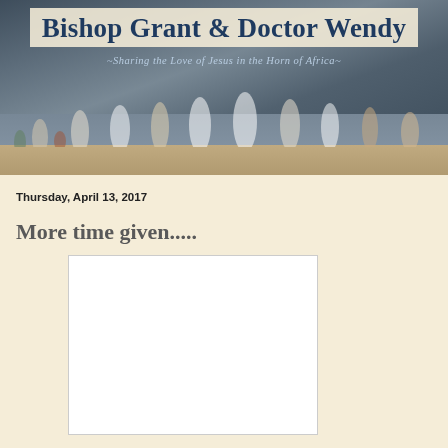Bishop Grant & Doctor Wendy ~Sharing the Love of Jesus in the Horn of Africa~
[Figure (photo): Group of African people walking and gathered outdoors under a cloudy sky, sandy ground, various clothing including white robes and colorful outfits]
Thursday, April 13, 2017
More time given.....
[Figure (photo): Embedded photo placeholder (white rectangle)]
...to love